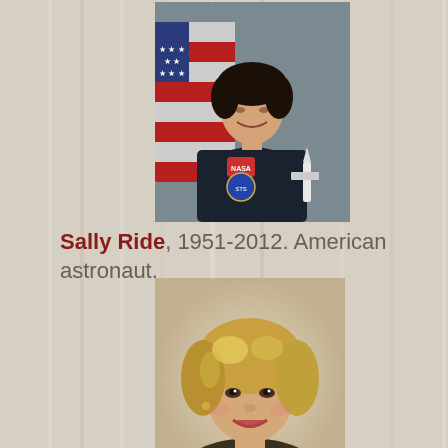[Figure (photo): Official NASA portrait photo of Sally Ride in dark uniform with NASA patch and mission patch, smiling, with American flag and space shuttle model in background]
Sally Ride, 1951-2012.  American astronaut.
[Figure (photo): Portrait photo of a woman with short blonde layered hair, smiling, wearing a dark patterned top]